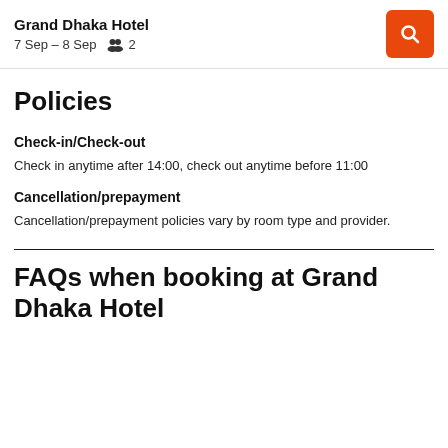Grand Dhaka Hotel
7 Sep – 8 Sep  👥 2
Policies
Check-in/Check-out
Check in anytime after 14:00, check out anytime before 11:00
Cancellation/prepayment
Cancellation/prepayment policies vary by room type and provider.
FAQs when booking at Grand Dhaka Hotel